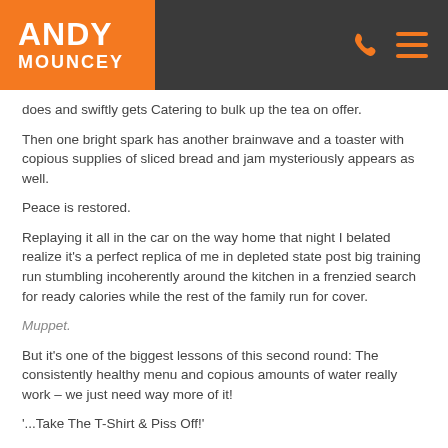ANDY MOUNCEY
does and swiftly gets Catering to bulk up the tea on offer.
Then one bright spark has another brainwave and a toaster with copious supplies of sliced bread and jam mysteriously appears as well.
Peace is restored.
Replaying it all in the car on the way home that night I belated realize it's a perfect replica of me in depleted state post big training run stumbling incoherently around the kitchen in a frenzied search for ready calories while the rest of the family run for cover.
Muppet.
But it's one of the biggest lessons of this second round: The consistently healthy menu and copious amounts of water really work – we just need way more of it!
'...Take The T-Shirt & Piss Off!'
Midway through Day 2 and we're checking in with them re Reality v Expectations: